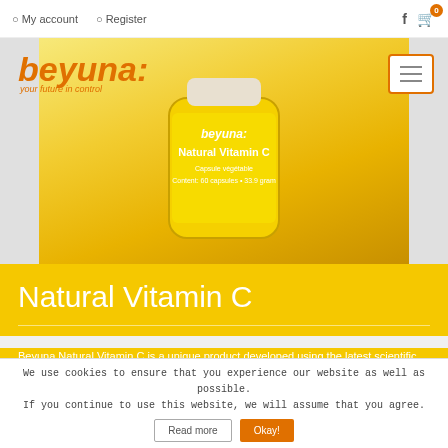My account   Register
[Figure (screenshot): Beyuna website screenshot showing logo, navigation, product image of Natural Vitamin C supplement bottle, and yellow product section.]
Natural Vitamin C
Beyuna Natural Vitamin C is a unique product developed using the latest scientific research. Natural Vitamin C is extracted from organic amla berries and is therefore optimally compatible...
We use cookies to ensure that you experience our website as well as possible. If you continue to use this website, we will assume that you agree.